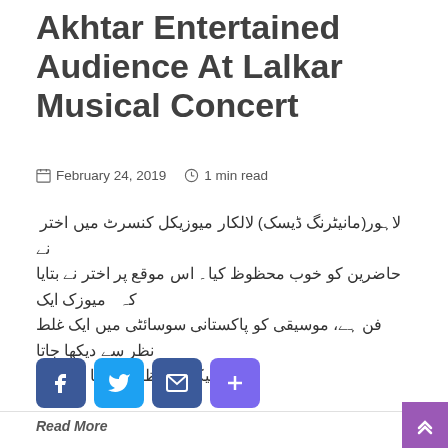Akhtar Entertained Audience At Lalkar Musical Concert
February 24, 2019  1 min read
لاہور(مانیٹرنگ ڈیسک) لالکار میوزیکل کنسرٹ میں اختر نے حاضرین کو خوب محظوظ کیا۔ اس موقع پر اختر نے بتایا کہ میوزک ایک فن ہے، موسیقی کو پاکستانی سوسائٹی میں ایک غلط نظر سے دیکھا جاتا ہے لیکن یہ نظریہ بدلنا چاہیے۔
[Figure (infographic): Social share buttons: Facebook, Twitter, Email, Plus]
Read More